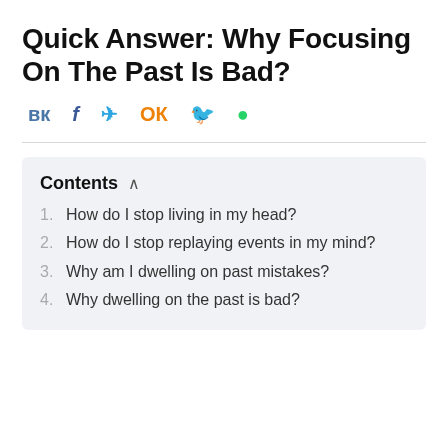Quick Answer: Why Focusing On The Past Is Bad?
[Figure (infographic): Social media sharing icons: VK, Facebook, Telegram, Odnoklassniki, Twitter, WhatsApp]
1. How do I stop living in my head?
2. How do I stop replaying events in my mind?
3. Why am I dwelling on past mistakes?
4. Why dwelling on the past is bad?